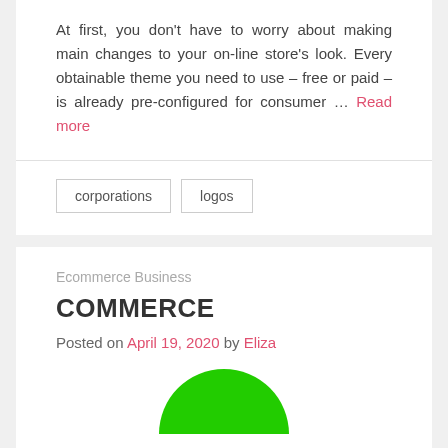At first, you don't have to worry about making main changes to your on-line store's look. Every obtainable theme you need to use – free or paid – is already pre-configured for consumer … Read more
corporations
logos
Ecommerce Business
COMMERCE
Posted on April 19, 2020 by Eliza
[Figure (illustration): Partial green semicircle/arc shape at the bottom of the page]